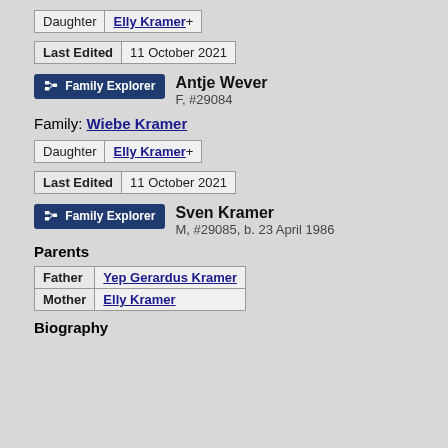|  |  |
| --- | --- |
| Daughter | Elly Kramer+ |
|  |  |
| --- | --- |
| Last Edited | 11 October 2021 |
Family Explorer  Antje Wever F, #29084
Family: Wiebe Kramer
|  |  |
| --- | --- |
| Daughter | Elly Kramer+ |
|  |  |
| --- | --- |
| Last Edited | 11 October 2021 |
Family Explorer  Sven Kramer M, #29085, b. 23 April 1986
Parents
|  |  |
| --- | --- |
| Father | Yep Gerardus Kramer |
| Mother | Elly Kramer |
Biography